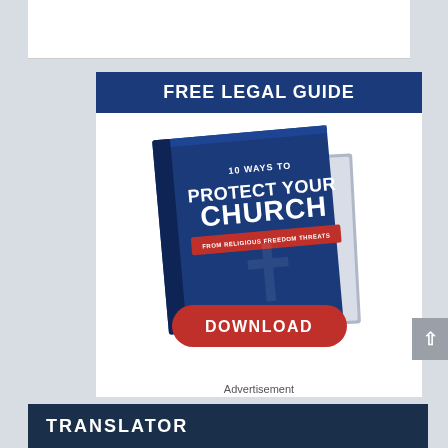[Figure (other): White rectangle at top of page, partial view of webpage content above the advertisement]
FREE LEGAL GUIDE
[Figure (illustration): Stack of blue books/guides titled '10 WAYS TO PROTECT YOUR CHURCH FROM RELIGIOUS FREEDOM THREATS' with a large red DOWNLOAD button]
Advertisement
TRANSLATOR